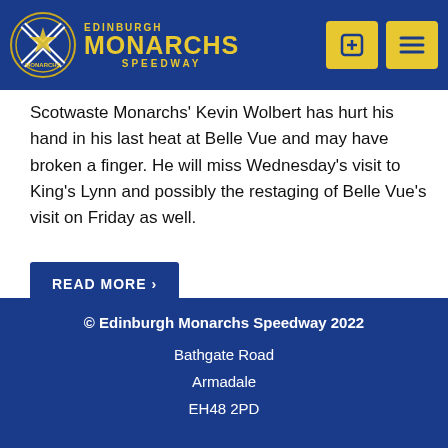Edinburgh Monarchs Speedway
Scotwaste Monarchs' Kevin Wolbert has hurt his hand in his last heat at Belle Vue and may have broken a finger. He will miss Wednesday's visit to King's Lynn and possibly the restaging of Belle Vue's visit on Friday as well.
READ MORE >
NEXT >
© Edinburgh Monarchs Speedway 2022
Bathgate Road
Armadale
EH48 2PD